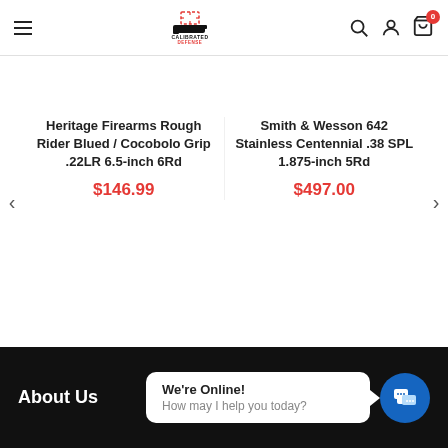[Figure (logo): Calibrated Defense logo — gun sight icon with text]
Heritage Firearms Rough Rider Blued / Cocobolo Grip .22LR 6.5-inch 6Rd
$146.99
Smith & Wesson 642 Stainless Centennial .38 SPL 1.875-inch 5Rd
$497.00
About Us
We're Online! How may I help you today?